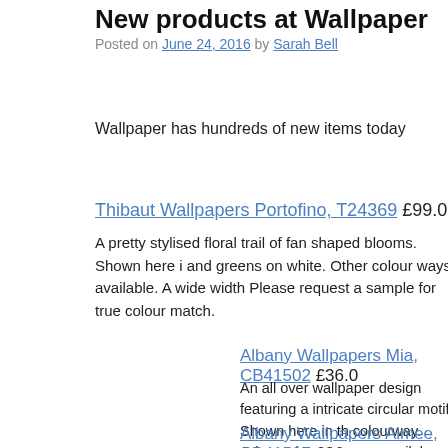New products at Wallpaper
Posted on June 24, 2016 by Sarah Bell
Wallpaper has hundreds of new items today
Thibaut Wallpapers Portofino, T24369 £99.00
A pretty stylised floral trail of fan shaped blooms. Shown here i... and greens on white. Other colour ways available. A wide width... Please request a sample for true colour match.
Albany Wallpapers Mia, CB41502 £36.0...
An all over wallpaper design featuring a... intricate circular motif. Shown here in th... colourway. Other colourways are availab... request a sample for a true colour match... repeat is 26.5cm not as stated below. Coo... available from designerpaint.com
Albany Wallpapers Aimee, CB41507 £36...
An all over wallpaper design featuring a repeated pattern of a...